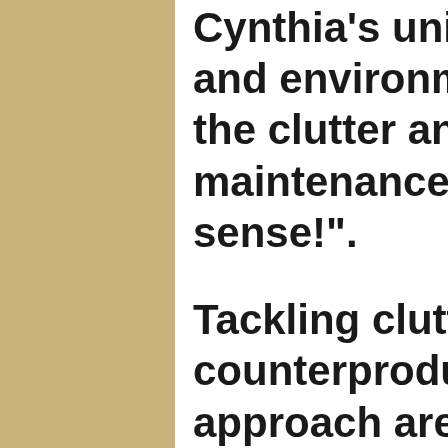Cynthia's unique ability and environment and the clutter and chaos, maintenance is almost sense!".
Tackling clutter without counterproductive. Raising approach are actually organizing, Sooner or original condition- D piles!